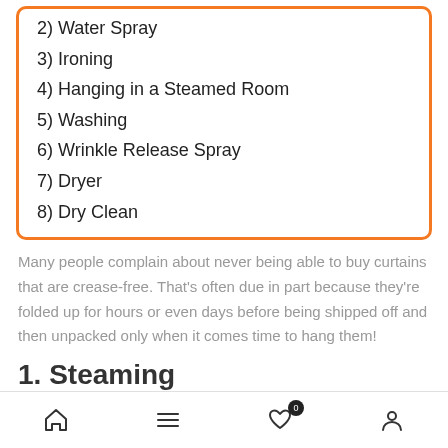2) Water Spray
3) Ironing
4) Hanging in a Steamed Room
5) Washing
6) Wrinkle Release Spray
7) Dryer
8) Dry Clean
Many people complain about never being able to buy curtains that are crease-free. That’s often due in part because they’re folded up for hours or even days before being shipped off and then unpacked only when it comes time to hang them!
1. Steaming